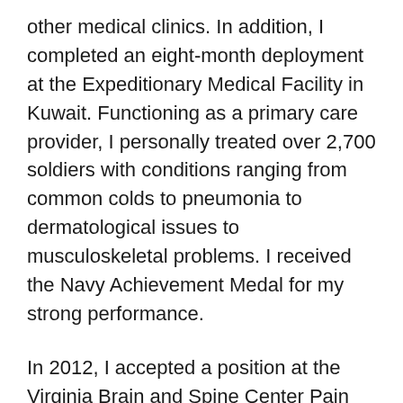other medical clinics. In addition, I completed an eight-month deployment at the Expeditionary Medical Facility in Kuwait. Functioning as a primary care provider, I personally treated over 2,700 soldiers with conditions ranging from common colds to pneumonia to dermatological issues to musculoskeletal problems. I received the Navy Achievement Medal for my strong performance.
In 2012, I accepted a position at the Virginia Brain and Spine Center Pain Management Department in Winchester, Virginia. During my 6½ years, I built a thriving medical practice that focused on patient education and multidisciplinary treatment options. I also opened an OsteoStrong® franchise center to offer an option for increasing bone density, reducing fracture